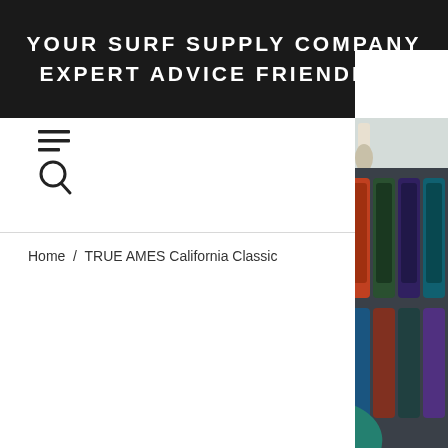YOUR SURF SUPPLY COMPANY EXPERT ADVICE FRIENDLY S
[Figure (other): Hamburger menu icon and search icon]
Home / TRUE AMES California Classic
[Figure (photo): Interior of a surf shop showing wetsuit display racks and tropical plant leaves in foreground]
Stay on
S
(Promise we won
Enter your nu